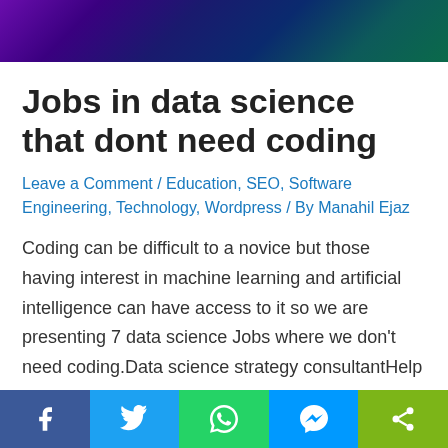[Figure (photo): Hero image with purple and teal technology/AI themed background]
Jobs in data science that dont need coding
Leave a Comment / Education, SEO, Software Engineering, Technology, Wordpress / By Manahil Ejaz
Coding can be difficult to a novice but those having interest in machine learning and artificial intelligence can have access to it so we are presenting 7 data science Jobs where we don't need coding. Data science strategy consultantHelp company in supporting answers of questions likeWhy do we need data science?how can we move into data …
[Figure (infographic): Social sharing bar with Facebook, Twitter, WhatsApp, Messenger, and Share buttons]